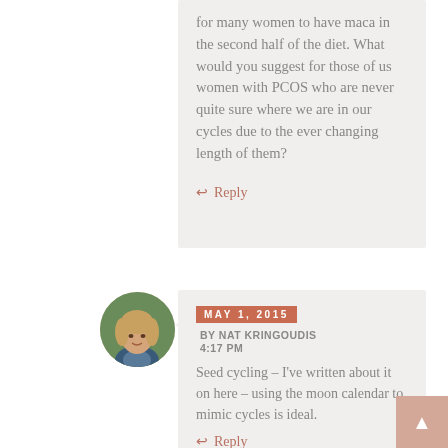for many women to have maca in the second half of the diet. What would you suggest for those of us women with PCOS who are never quite sure where we are in our cycles due to the ever changing length of them?
↩ Reply
[Figure (photo): Avatar photo of Nat Kringoudis, a woman with light hair smiling outdoors]
MAY 1, 2015
BY NAT KRINGOUDIS
4:17 PM
Seed cycling – I've written about it on here – using the moon calendar to mimic cycles is ideal.
↩ Reply